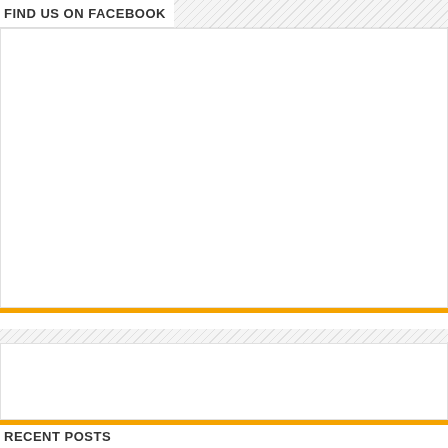FIND US ON FACEBOOK
[Figure (other): Empty white Facebook widget embed area with orange bottom border line]
[Figure (other): Empty white content box with orange bottom border line]
RECENT POSTS